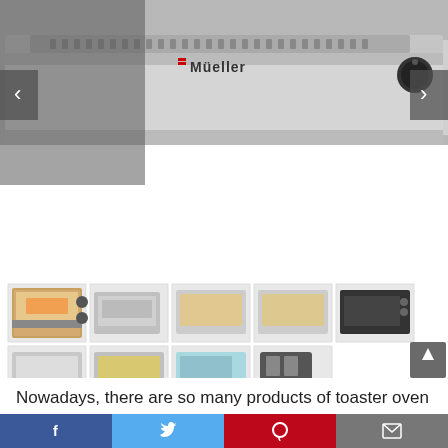[Figure (photo): Large main product image of a Mueller brand toaster oven, silver/stainless steel, with navigation arrows on left and right sides]
[Figure (photo): Row of product thumbnail images showing various toaster ovens and kitchen appliances including toasters, with a scroll-up button on the right]
Nowadays, there are so many products of toaster oven low
[Figure (other): Social sharing bar at bottom with Facebook, Twitter, Pinterest, and Email buttons]